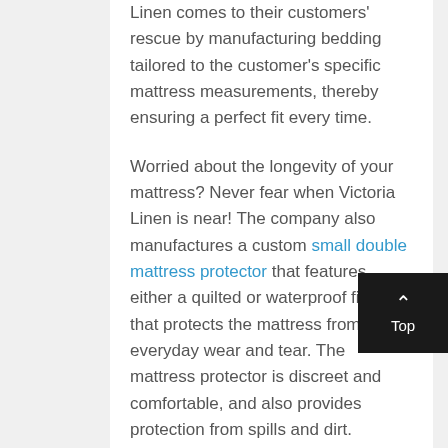Linen comes to their customers' rescue by manufacturing bedding tailored to the customer's specific mattress measurements, thereby ensuring a perfect fit every time.

Worried about the longevity of your mattress? Never fear when Victoria Linen is near! The company also manufactures a custom small double mattress protector that features either a quilted or waterproof finish that protects the mattress from everyday wear and tear. The mattress protector is discreet and comfortable, and also provides protection from spills and dirt.